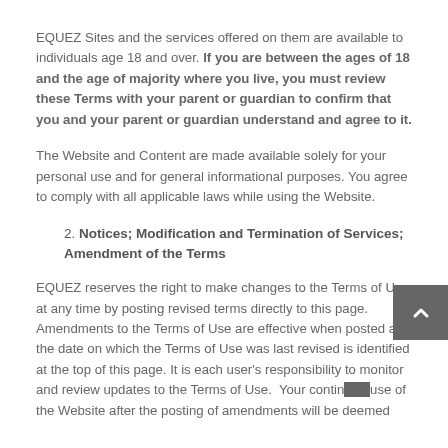EQUEZ Sites and the services offered on them are available to individuals age 18 and over. If you are between the ages of 18 and the age of majority where you live, you must review these Terms with your parent or guardian to confirm that you and your parent or guardian understand and agree to it.
The Website and Content are made available solely for your personal use and for general informational purposes. You agree to comply with all applicable laws while using the Website.
2. Notices; Modification and Termination of Services; Amendment of the Terms
EQUEZ reserves the right to make changes to the Terms of Use at any time by posting revised terms directly to this page. Amendments to the Terms of Use are effective when posted and the date on which the Terms of Use was last revised is identified at the top of this page. It is each user's responsibility to monitor and review updates to the Terms of Use.  Your continued use of the Website after the posting of amendments will be deemed